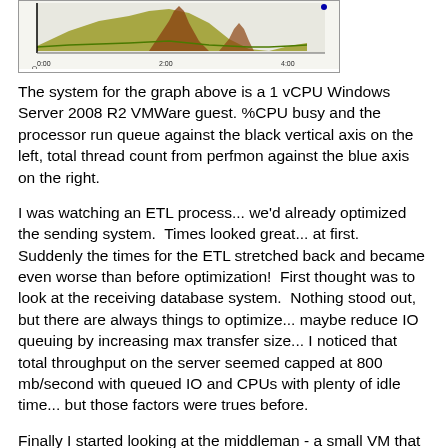[Figure (continuous-plot): A time-series performance graph showing CPU and thread metrics for a 1 vCPU Windows Server 2008 R2 VMWare guest. The x-axis shows time values (0:00, 2:00, 4:00). The chart contains colored bands and lines (olive/green and brown/red areas) against a light background, with black vertical axis on the left and blue axis on the right.]
The system for the graph above is a 1 vCPU Windows Server 2008 R2 VMWare guest. %CPU busy and the processor run queue against the black vertical axis on the left, total thread count from perfmon against the blue axis on the right.
I was watching an ETL process... we'd already optimized the sending system.  Times looked great... at first.  Suddenly the times for the ETL stretched back and became even worse than before optimization!  First thought was to look at the receiving database system.  Nothing stood out, but there are always things to optimize... maybe reduce IO queuing by increasing max transfer size... I noticed that total throughput on the server seemed capped at 800 mb/second with queued IO and CPUs with plenty of idle time... but those factors were trues before.
Finally I started looking at the middleman - a small VM that grabs the extract files from the source system and manages their import into the target system.  I'd actually forgotten it